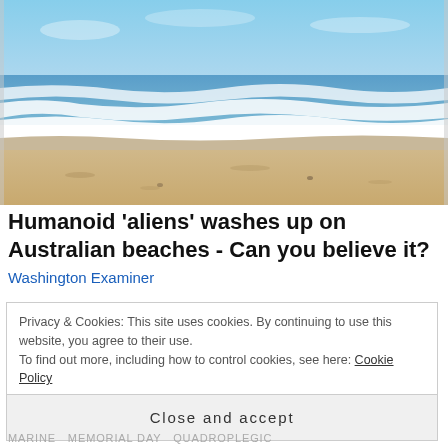[Figure (photo): Beach scene with ocean waves, white foam surf, sandy shore, and blue sky with light clouds.]
Humanoid 'aliens' washes up on Australian beaches - Can you believe it?
Washington Examiner
Privacy & Cookies: This site uses cookies. By continuing to use this website, you agree to their use.
To find out more, including how to control cookies, see here: Cookie Policy
Close and accept
MARINE  MEMORIAL DAY  QUADROPLEGIC